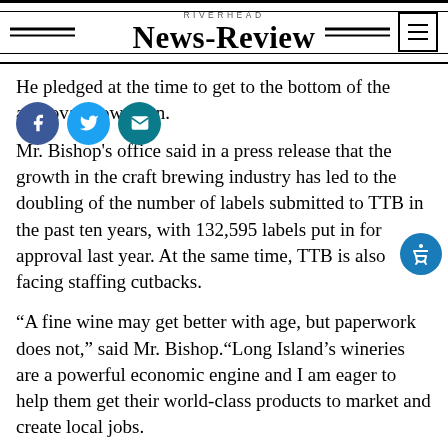RIVERHEAD NEWS-REVIEW
He pledged at the time to get to the bottom of the approval slowdown.
Mr. Bishop's office said in a press release that the growth in the craft brewing industry has led to the doubling of the number of labels submitted to TTB in the past ten years, with 132,595 labels put in for approval last year. At the same time, TTB is also facing staffing cutbacks.
“A fine wine may get better with age, but paperwork does not,” said Mr. Bishop.“Long Island’s wineries are a powerful economic engine and I am eager to help them get their world-class products to market and create local jobs.